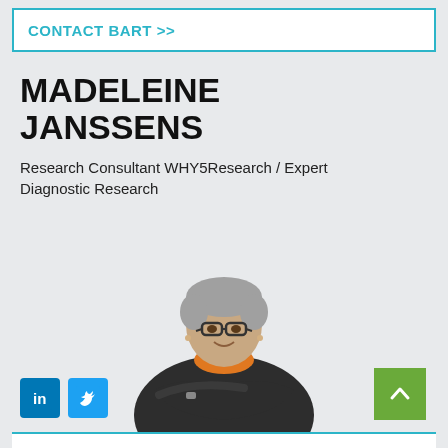CONTACT BART >>
MADELEINE JANSSENS
Research Consultant WHY5Research / Expert Diagnostic Research
[Figure (photo): Professional photo of Madeleine Janssens, a woman with short grey hair and glasses, wearing a dark sweater with an orange collar, arms crossed, smiling]
[Figure (logo): LinkedIn icon (blue square with white 'in' text) and Twitter icon (blue square with white bird logo)]